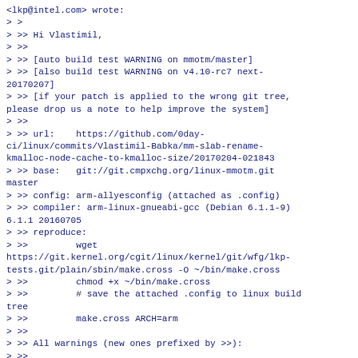<lkp@intel.com> wrote:
> >
> >> Hi Vlastimil,
> >>
> >> [auto build test WARNING on mmotm/master]
> >> [also build test WARNING on v4.10-rc7 next-20170207]
> >> [if your patch is applied to the wrong git tree, please drop us a note to help improve the system]
> >>
> >> url:    https://github.com/0day-ci/linux/commits/Vlastimil-Babka/mm-slab-rename-kmalloc-node-cache-to-kmalloc-size/20170204-021843
> >> base:   git://git.cmpxchg.org/linux-mmotm.git master
> >> config: arm-allyesconfig (attached as .config)
> >> compiler: arm-linux-gnueabi-gcc (Debian 6.1.1-9) 6.1.1 20160705
> >> reproduce:
> >>         wget https://git.kernel.org/cgit/linux/kernel/git/wfg/lkp-tests.git/plain/sbin/make.cross -O ~/bin/make.cross
> >>         chmod +x ~/bin/make.cross
> >>         # save the attached .config to linux build tree
> >>         make.cross ARCH=arm
> >>
> >> All warnings (new ones prefixed by >>):
> >>
> >> >> WARNING: mm/built-in.o(.text+0x3b49c): Section